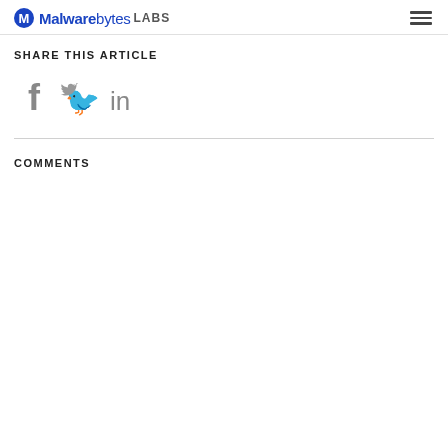Malwarebytes LABS
SHARE THIS ARTICLE
[Figure (illustration): Social share icons: Facebook (f), Twitter (bird), LinkedIn (in), rendered in gray]
COMMENTS